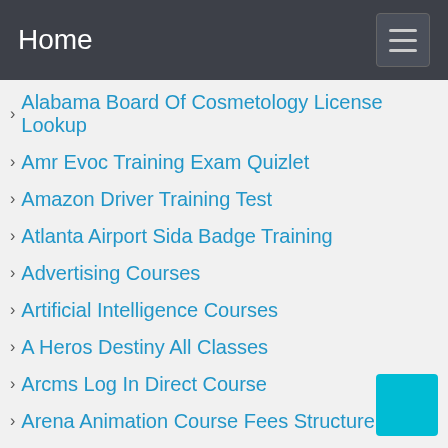Home
Alabama Board Of Cosmetology License Lookup
Amr Evoc Training Exam Quizlet
Amazon Driver Training Test
Atlanta Airport Sida Badge Training
Advertising Courses
Artificial Intelligence Courses
A Heros Destiny All Classes
Arcms Log In Direct Course
Arena Animation Course Fees Structure
Accounting Courses
Atika School Notes
Algorithms Courses